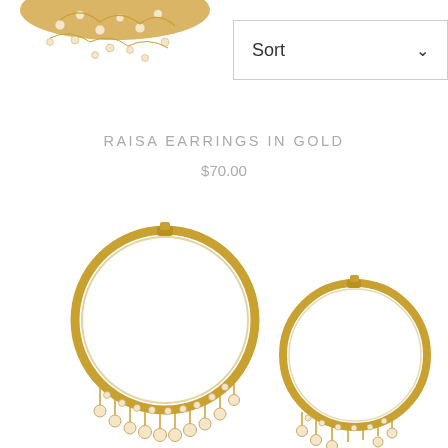[Figure (photo): Partial view of gold earrings with pearl beads at top of page, cropped]
[Figure (other): Sort dropdown UI element with chevron arrow]
RAISA EARRINGS IN GOLD
$70.00
[Figure (photo): Two gold hoop earrings with pearl bead fringe. Left earring is larger and fully visible; right earring is partially cropped at bottom right.]